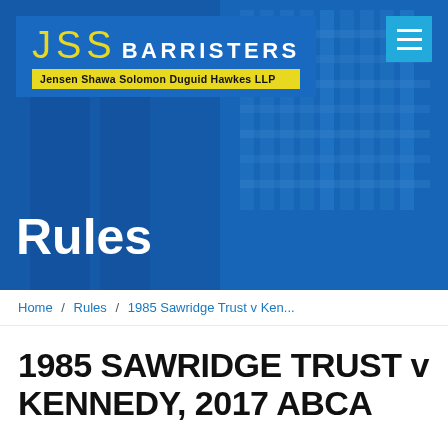[Figure (logo): JSS Barristers logo with yellow JSS text and white BARRISTERS text on blue background, with yellow banner reading Jensen Shawa Solomon Duguid Hawkes LLP]
Rules
Home / Rules / 1985 Sawridge Trust v Ken...
1985 SAWRIDGE TRUST v KENNEDY, 2017 ABCA